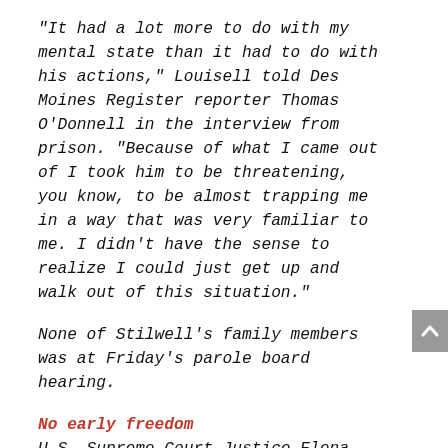“It had a lot more to do with my mental state than it had to do with his actions,” Louisell told Des Moines Register reporter Thomas O’Donnell in the interview from prison. “Because of what I came out of I took him to be threatening, you know, to be almost trapping me in a way that was very familiar to me. I didn’t have the sense to realize I could just get up and walk out of this situation.”
None of Stilwell’s family members was at Friday’s parole board hearing.
No early freedom
U.S. Supreme Court Justice Elena Kagan wrote the majority opinion in the 2012